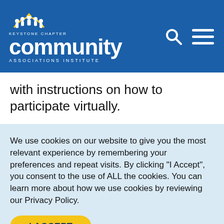[Figure (logo): Keystone Chapter Community Associations Institute logo with people icon, white text on blue background, plus search and menu icons]
with instructions on how to participate virtually.
We use cookies on our website to give you the most relevant experience by remembering your preferences and repeat visits. By clicking “I Accept”, you consent to the use of ALL the cookies. You can learn more about how we use cookies by reviewing our Privacy Policy.
I ACCEPT